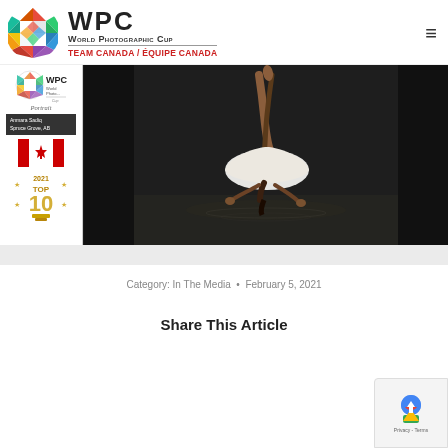WPC World Photographic Cup – TEAM CANADA / ÉQUIPE CANADA
[Figure (photo): WPC World Photographic Cup website header with circular mosaic logo, site title, red Team Canada subtitle, hamburger menu icon, and a dark photographic image showing a person performing a water dive with an inverted pose, wearing a white skirt. Sidebar shows Portrait category label, photographer name Anmara Sadiq, Spruce Grove, AB, Canadian flag, and 2021 Top 10 badge.]
Category: In The Media • February 5, 2021
Share This Article